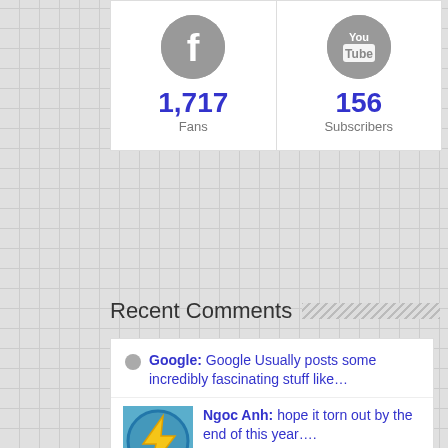[Figure (infographic): Social stats widget with Facebook (1,717 Fans) and YouTube (156 Subscribers) icons]
Recent Comments
Google: Google Usually posts some incredibly fascinating stuff like…
Ngoc Anh: hope it torn out by the end of this year….
foxton: YAWWWN! I find it funny that GG killed off Killzone by tryin…
Moo?: Correction: Red Dead 3…